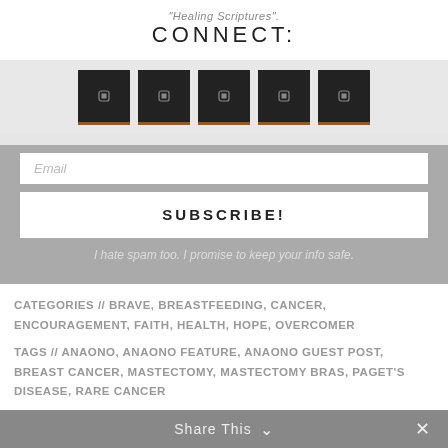"Healing Scriptures".
CONNECT:
[Figure (screenshot): Five dark square social media icon buttons with brown bottom borders on a light gray background]
Email
SUBSCRIBE!
I hate spam too. I promise to keep your info safe.
CATEGORIES // BRAVE, BREASTFEEDING, CANCER, ENCOURAGEMENT, FAITH, HEALTH, HOPE, OVERCOMER
TAGS // ANAONO, ANAONO FEATURE, ANAONO GUEST POST, BREAST CANCER, MASTECTOMY, MASTECTOMY BRAS, PAGET'S DISEASE, RARE CANCER
Share This ∨  ✕